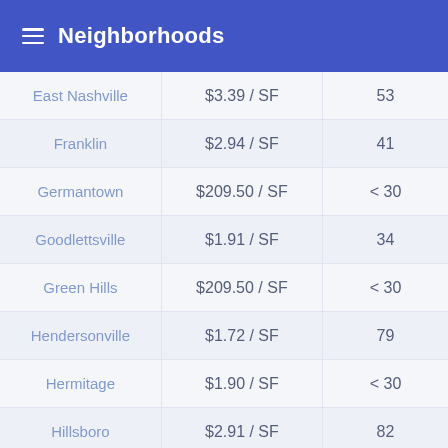Neighborhoods
| East Nashville | $3.39 / SF | 53 |
| Franklin | $2.94 / SF | 41 |
| Germantown | $209.50 / SF | < 30 |
| Goodlettsville | $1.91 / SF | 34 |
| Green Hills | $209.50 / SF | < 30 |
| Hendersonville | $1.72 / SF | 79 |
| Hermitage | $1.90 / SF | < 30 |
| Hillsboro | $2.91 / SF | 82 |